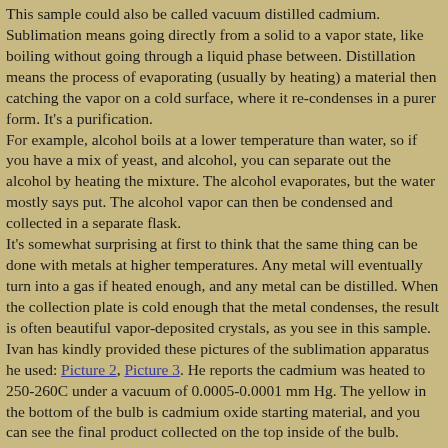This sample could also be called vacuum distilled cadmium. Sublimation means going directly from a solid to a vapor state, like boiling without going through a liquid phase between. Distillation means the process of evaporating (usually by heating) a material then catching the vapor on a cold surface, where it re-condenses in a purer form. It's a purification.
For example, alcohol boils at a lower temperature than water, so if you have a mix of yeast, and alcohol, you can separate out the alcohol by heating the mix. The alcohol evaporates, but the water mostly says put. The alcohol vapor can then be condensed and collected in a separate flask.
It's somewhat surprising at first to think that the same thing can be done with metals at of higher temperatures. Any metal will eventually turn into a gas if heated enough, and any metal can be distilled. When the collection plate is cold enough that the metal condenses, the result is often beautiful vapor-deposited crystals, as you see in this sample. Ivan has kindly provided these pictures of the sublimation apparatus he used: Picture 2, Picture 3. He reports the cadmium was heated to 250-260C under a vacuum of 0.0005-0.0001 mm Hg. The yellow in the bottom of the bulb is cadmium oxide starting material, and you can see the final product collected on the top inside of the bulb.
Source: Ivan Timokhin
Contributor: Ivan Timokhin
Acquired: 28 December, 2006
Text Updated: 11 February, 2007
Price: Donated
Size: 3"
Purity: >99.99%